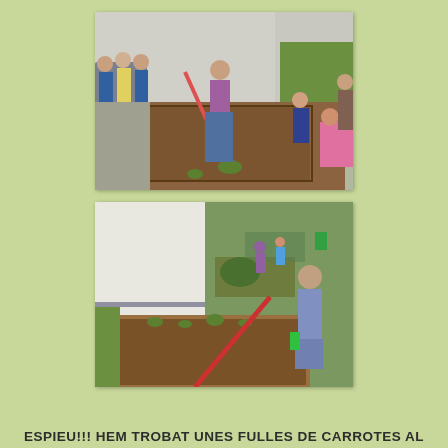[Figure (photo): Children standing in a line watching an adult raking a garden bed; some children crouching and watering on the right side; garden path between school buildings]
[Figure (photo): Children working in a school garden; a boy raking a raised garden bed with a red handle rake; other children visible in the background of the garden area]
ESPIEU!!! HEM TROBAT UNES FULLES DE CARROTES AL